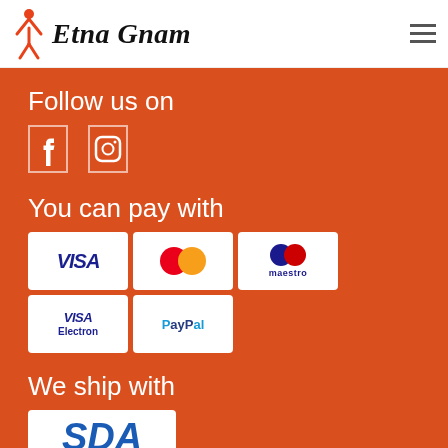[Figure (logo): Etna Gnam logo with stylized red figure and italic script brand name]
Follow us on
[Figure (infographic): Two social media icon boxes (Facebook and Instagram) in the orange section]
You can pay with
[Figure (infographic): Payment method icons: VISA, MasterCard, Maestro, VISA Electron, PayPal]
We ship with
[Figure (logo): SDA Poste Italiane shipping logo]
This website uses cookies to improve your experience. We'll assume you're ok with this, but you can opt-out if you wish.
Cookie settings   ACCEPT